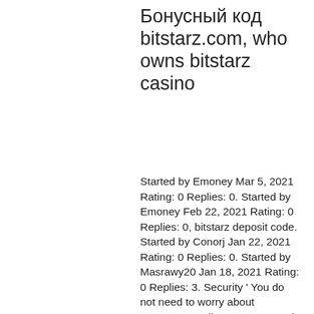Бонусный код bitstarz.com, who owns bitstarz casino
Started by Emoney Mar 5, 2021 Rating: 0 Replies: 0. Started by Emoney Feb 22, 2021 Rating: 0 Replies: 0, bitstarz deposit code. Started by Conorj Jan 22, 2021 Rating: 0 Replies: 0. Started by Masrawy20 Jan 18, 2021 Rating: 0 Replies: 3. Security ' You do not need to worry about someone stealing your personal information ' Bitcoin casino sites are completely unhackable, bitstarz deposit code. It is secure enough and every day your balance will reflect on your account, bitstarz website. Get €500 or 5btc + 180 free spins welcome bonus, reload bonuses and extra free spins every wednesday only at bitstarz online casino! Узнайте bitstarz казино бонусный код 2022 и получите эксклюзивный бонус: 30 фриспинов без